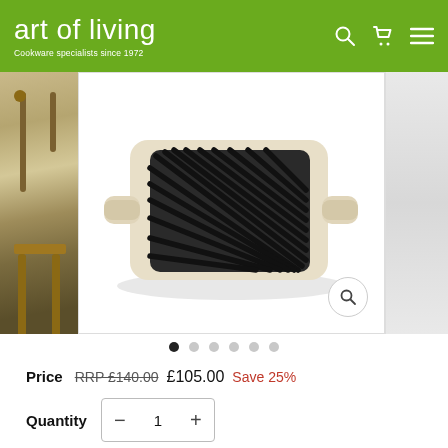art of living — Cookware specialists since 1972
[Figure (photo): Square cast iron grill pan with cream/beige enamel exterior and dark ridged cooking surface, viewed from above at slight angle. The pan has two small handles on either side.]
Price  RRP £140.00  £105.00  Save 25%
Quantity  −  1  +
feefo  Reviews
Free UK deliv…